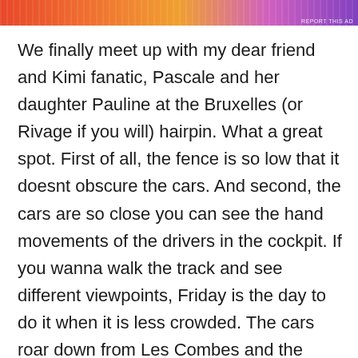[Figure (other): Colorful gradient advertisement banner with orange, red, pink, and purple tones and decorative pattern. Includes 'REPORT THIS AD' text.]
We finally meet up with my dear friend and Kimi fanatic, Pascale and her daughter Pauline at the Bruxelles (or Rivage if you will) hairpin. What a great spot. First of all, the fence is so low that it doesnt obscure the cars. And second, the cars are so close you can see the hand movements of the drivers in the cockpit. If you wanna walk the track and see different viewpoints, Friday is the day to do it when it is less crowded. The cars roar down from Les Combes and the track has an angle so it is very easy to lock up the inside front wheel. Verstappen did it several times in Free Practice. Or you can just walk 30 meters through the trees to watch the cars accelerate out of Bruxelles and rocket down towards the corner with no name. Stay there during qualifying or the race and you will have a bit of shade. Or a little bit of shelter if there is rain.